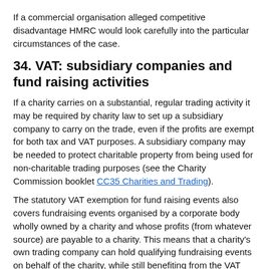If a commercial organisation alleged competitive disadvantage HMRC would look carefully into the particular circumstances of the case.
34. VAT: subsidiary companies and fund raising activities
If a charity carries on a substantial, regular trading activity it may be required by charity law to set up a subsidiary company to carry on the trade, even if the profits are exempt for both tax and VAT purposes. A subsidiary company may be needed to protect charitable property from being used for non-charitable trading purposes (see the Charity Commission booklet CC35 Charities and Trading).
The statutory VAT exemption for fund raising events also covers fundraising events organised by a corporate body wholly owned by a charity and whose profits (from whatever source) are payable to a charity. This means that a charity's own trading company can hold qualifying fundraising events on behalf of the charity, while still benefiting from the VAT exemption.